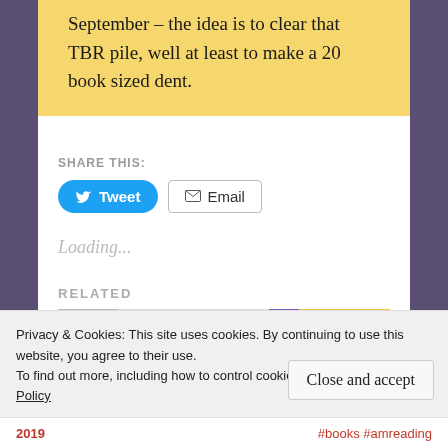September – the idea is to clear that TBR pile, well at least to make a 20 book sized dent.
SHARE THIS:
Loading...
RELATED
Privacy & Cookies: This site uses cookies. By continuing to use this website, you agree to their use. To find out more, including how to control cookies, see here: Cookie Policy
2019
#books #amreading